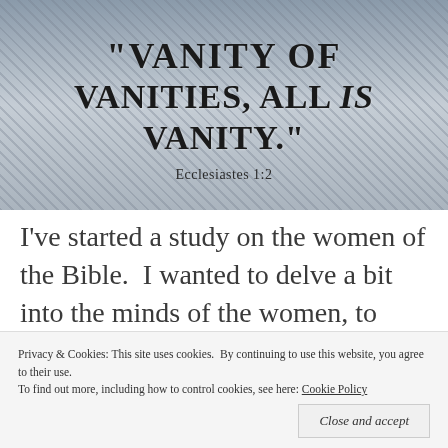[Figure (illustration): Banner image with city background (grayscale/blue-tinted) showing the Bible quote 'Vanity of Vanities, All Is Vanity.' with reference Ecclesiastes 1:2 in bold black decorative text]
I've started a study on the women of the Bible.  I wanted to delve a bit into the minds of the women, to understand why they did what they did.  Sometimes, people of the Bible can be seen as almost
Privacy & Cookies: This site uses cookies.  By continuing to use this website, you agree to their use.
To find out more, including how to control cookies, see here: Cookie Policy
Close and accept
reality, they are real people, just like you